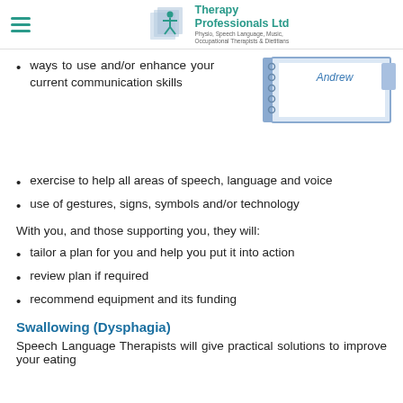Therapy Professionals Ltd — Physio, Speech Language, Music, Occupational Therapists & Dietitians
[Figure (illustration): Notebook/notepad graphic with the name 'Andrew' written at the top in teal/blue italic text, depicted as a tabbed notebook with a blue border on a white background.]
ways to use and/or enhance your current communication skills
exercise to help all areas of speech, language and voice
use of gestures, signs, symbols and/or technology
With you, and those supporting you, they will:
tailor a plan for you and help you put it into action
review plan if required
recommend equipment and its funding
Swallowing (Dysphagia)
Speech Language Therapists will give practical solutions to improve your eating